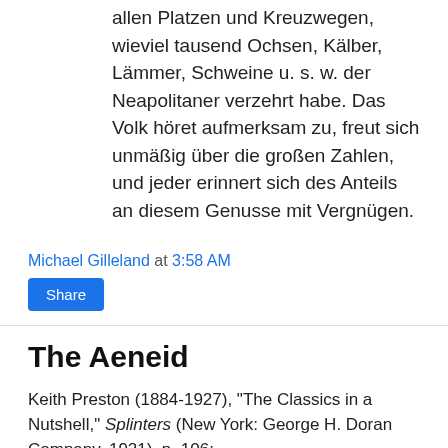allen Platzen und Kreuzwegen, wieviel tausend Ochsen, Kälber, Lämmer, Schweine u. s. w. der Neapolitaner verzehrt habe. Das Volk höret aufmerksam zu, freut sich unmäßig über die großen Zahlen, und jeder erinnert sich des Anteils an diesem Genusse mit Vergnügen.
Michael Gilleland at 3:58 AM
Share
The Aeneid
Keith Preston (1884-1927), "The Classics in a Nutshell," Splinters (New York: George H. Doran Company, 1921), p. 106:
(Modern reader's library)
VERGIL'S AENEID
Aeneas, with his little boy,